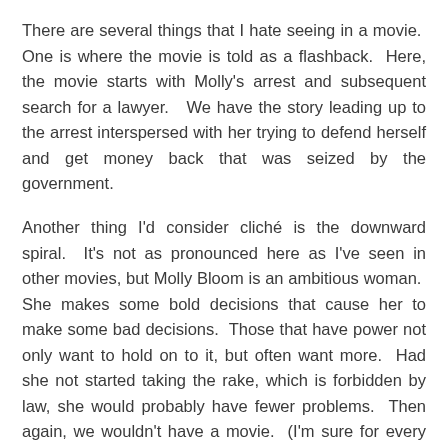There are several things that I hate seeing in a movie.  One is where the movie is told as a flashback.  Here, the movie starts with Molly's arrest and subsequent search for a lawyer.  We have the story leading up to the arrest interspersed with her trying to defend herself and get money back that was seized by the government.
Another thing I'd consider cliché is the downward spiral.  It's not as pronounced here as I've seen in other movies, but Molly Bloom is an ambitious woman.  She makes some bold decisions that cause her to make some bad decisions.  Those that have power not only want to hold on to it, but often want more.  Had she not started taking the rake, which is forbidden by law, she would probably have fewer problems.  Then again, we wouldn't have a movie.  (I'm sure for every person like Molly, there are many others content to stay in the shadows.)
The whole aspect of changing names is to be expected.  Even with a story based on truth, I expect a certain amount of fictionalization.  Michael Cera plays Player X, who is